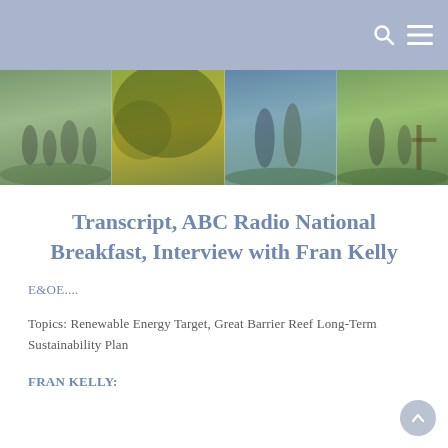[Figure (photo): A horizontal banner of four outdoor photos showing people in rural/farming settings with trees and green fields.]
Transcript, ABC Radio National Breakfast, Interview with Fran Kelly
E&OE....
Topics: Renewable Energy Target, Great Barrier Reef Long-Term Sustainability Plan
FRAN KELLY: